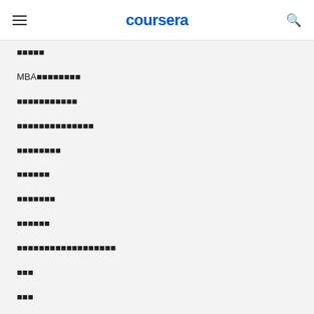coursera
░░░░░
MBA░░░░░░░░
░░░░░░░░░░░
░░░░░░░░░░░░░░
░░░░░░░░
░░░░░░
░░░░░░░
░░░░░░
░░░░░░░░░░░░░░░░░░
░░░
░░░
░░░░░░░░░░░░░
BSc ░░░
░░░░░░░░░
░░░░░░░░░░░░░░░░░░░░